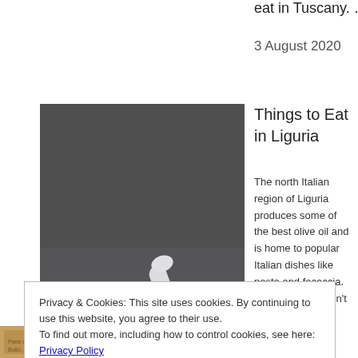eat in Tuscany. … More
3 August 2020
Things to Eat in Liguria
[Figure (photo): White mortar and pestle with green pesto herb mixture, dark background]
The north Italian region of Liguria produces some of the best olive oil and is home to popular Italian dishes like pesto and focaccia. As if the food wasn't reason enough to visit Liguria, the ever cool city of Genoa and the gorgeous Chinque
Privacy & Cookies: This site uses cookies. By continuing to use this website, you agree to their use.
To find out more, including how to control cookies, see here: Privacy Policy
Close and accept
Things to Eat in Umbria